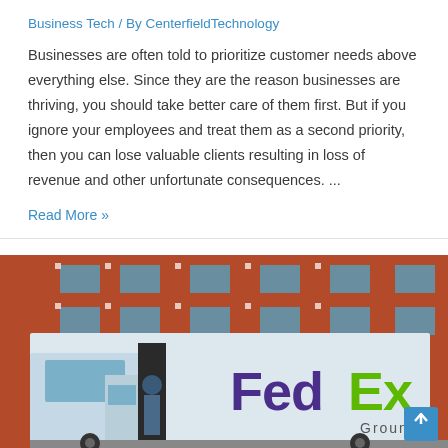Business Tech / By CenterfieldTechnology
Businesses are often told to prioritize customer needs above everything else. Since they are the reason businesses are thriving, you should take better care of them first. But if you ignore your employees and treat them as a second priority, then you can lose valuable clients resulting in loss of revenue and other unfortunate consequences. ...
Read More »
[Figure (photo): A FedEx Ground delivery truck parked in front of a red brick building. The white truck prominently displays the FedEx logo in purple and green with 'Ground' text below. A delivery worker is visible near the truck door.]